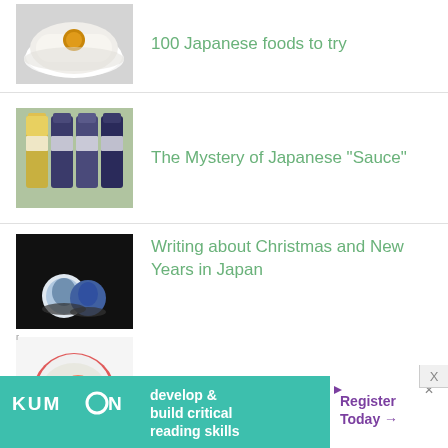100 Japanese foods to try
The Mystery of Japanese "Sauce"
Writing about Christmas and New Years in Japan
Mailorder merchants that
[Figure (other): Advertisement banner for KUMON with tagline 'develop & build critical reading skills' and 'Register Today' call to action]